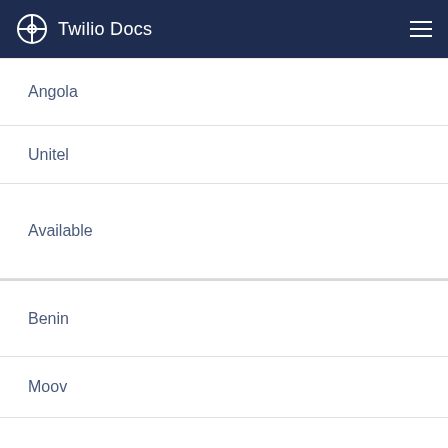Twilio Docs
Angola
Unitel
Available
Benin
Moov
Available
Botswana